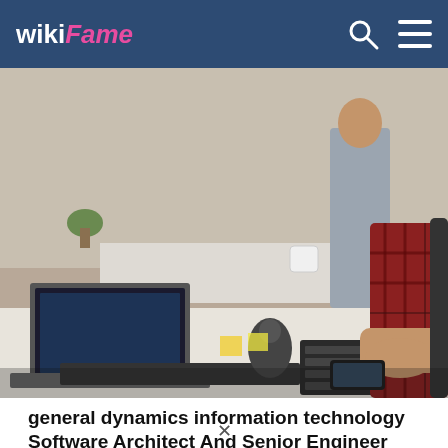wikiFame
[Figure (photo): Office scene: person in red plaid shirt typing on a keyboard at a desk with laptops and other office equipment visible.]
general dynamics information technology Software Architect And Senior Engineer Jobs...
jobble.com
[Figure (photo): Partial view of a person with curly hair, likely working on a tablet or document.]